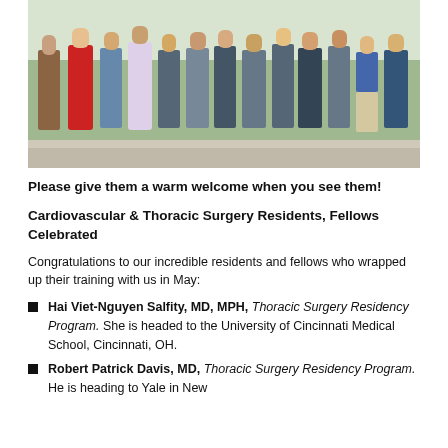[Figure (photo): Group photo of cardiovascular and thoracic surgery residents and fellows standing outdoors on a sidewalk/patio area]
Please give them a warm welcome when you see them!
Cardiovascular & Thoracic Surgery Residents, Fellows Celebrated
Congratulations to our incredible residents and fellows who wrapped up their training with us in May:
Hai Viet-Nguyen Salfity, MD, MPH, Thoracic Surgery Residency Program. She is headed to the University of Cincinnati Medical School, Cincinnati, OH.
Robert Patrick Davis, MD, Thoracic Surgery Residency Program. He is heading to Yale in New...